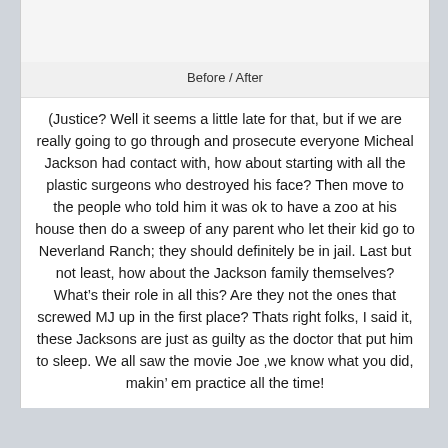[Figure (photo): Before / After image placeholder area]
Before / After
(Justice? Well it seems a little late for that, but if we are really going to go through and prosecute everyone Micheal Jackson had contact with, how about starting with all the plastic surgeons who destroyed his face? Then move to the people who told him it was ok to have a zoo at his house then do a sweep of any parent who let their kid go to Neverland Ranch; they should definitely be in jail. Last but not least, how about the Jackson family themselves? What’s their role in all this? Are they not the ones that screwed MJ up in the first place? Thats right folks, I said it, these Jacksons are just as guilty as the doctor that put him to sleep. We all saw the movie Joe ,we know what you did, makin’ em practice all the time!